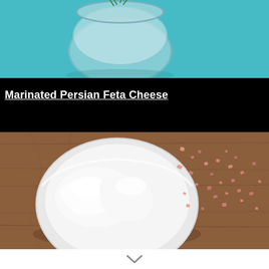[Figure (photo): Top portion of a glass jar with dill/herbs on a teal/cyan textured cloth background, partially cropped]
Marinated Persian Feta Cheese
[Figure (photo): Overhead view of a white bowl containing soft white Persian feta cheese pieces, placed on a rustic wooden board with scattered pink himalayan salt crystals on the right side]